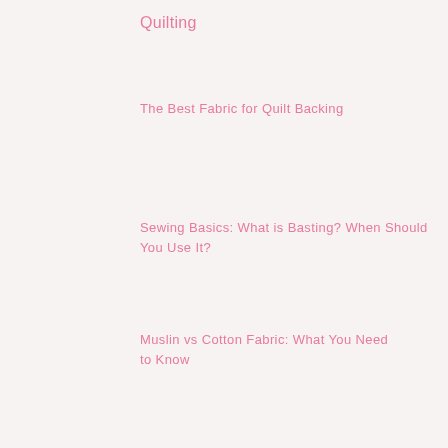Quilting
The Best Fabric for Quilt Backing
Sewing Basics: What is Basting? When Should You Use It?
Muslin vs Cotton Fabric: What You Need to Know